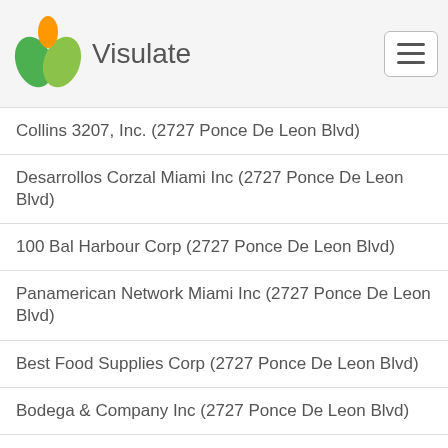Visulate
Collins 3207, Inc. (2727 Ponce De Leon Blvd)
Desarrollos Corzal Miami Inc (2727 Ponce De Leon Blvd)
100 Bal Harbour Corp (2727 Ponce De Leon Blvd)
Panamerican Network Miami Inc (2727 Ponce De Leon Blvd)
Best Food Supplies Corp (2727 Ponce De Leon Blvd)
Bodega & Company Inc (2727 Ponce De Leon Blvd)
Grupo Celo Y Apolo Usa Inc (2727 Ponce De Leon Blvd)
Pons International, Corp. (2727 Ponce De Leon Blvd)
Acvi Investments Inc (2727 Ponce De Leon Blvd)
Jo Emerald Sea, Inc. (2727 Ponce De Leon Blvd)